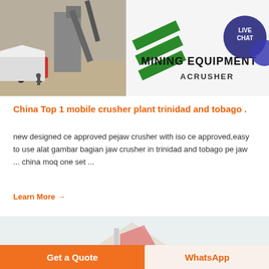[Figure (photo): Mining equipment facility photo with crusher machinery, trucks, buildings, and branded overlay with MINING EQUIPMENT ACRUSHER logo and LIVE CHAT bubble]
China Top 1 mobile crusher plant trinidad and tobago .
new designed ce approved pejaw crusher with iso ce approved,easy to use alat gambar bagian jaw crusher in trinidad and tobago pe jaw ... china moq one set ...
Learn More →
[Figure (photo): Partial bottom image of mining/crushing equipment]
Get a Quote
WhatsApp